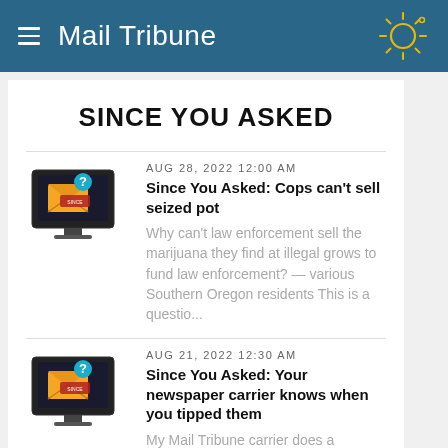Mail Tribune
SINCE YOU ASKED
[Figure (illustration): Mail Tribune 'Since You Asked' thumbnail: computer monitor with envelope and question mark badge, colorful graphic]
AUG 28, 2022 12:00 AM
Since You Asked: Cops can't sell seized pot
Why can't law enforcement sell the marijuana they find at illegal grows to fund law enforcement? — various Southern Oregon residents This is a questio...
[Figure (illustration): Mail Tribune 'Since You Asked' thumbnail: computer monitor with envelope and question mark badge, colorful graphic]
AUG 21, 2022 12:30 AM
Since You Asked: Your newspaper carrier knows when you tipped them
My Mail Tribune carrier does a commendable job. When I add a gratuity to my subscription payment, is he or she informed as to which customer is so